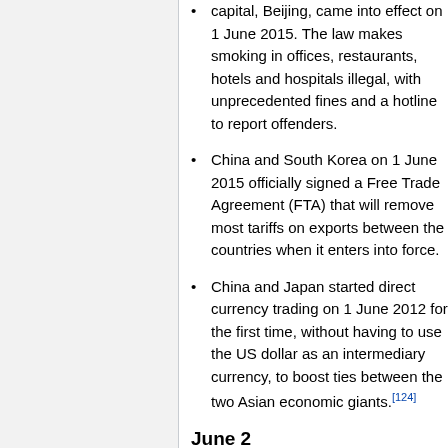capital, Beijing, came into effect on 1 June 2015. The law makes smoking in offices, restaurants, hotels and hospitals illegal, with unprecedented fines and a hotline to report offenders.
China and South Korea on 1 June 2015 officially signed a Free Trade Agreement (FTA) that will remove most tariffs on exports between the countries when it enters into force.
China and Japan started direct currency trading on 1 June 2012 for the first time, without having to use the US dollar as an intermediary currency, to boost ties between the two Asian economic giants.[124]
June 2
China on 2 June 2018 launched a